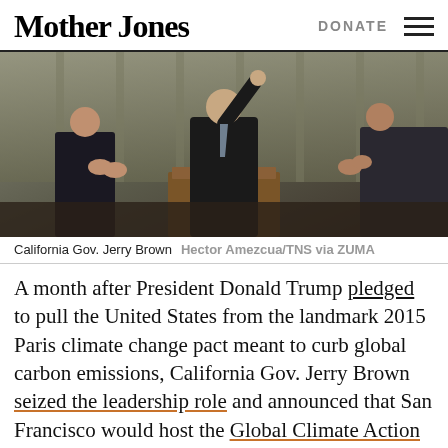Mother Jones  DONATE
[Figure (photo): California Gov. Jerry Brown at a podium with arm raised, flanked by two men in suits who are applauding, in front of curtains]
California Gov. Jerry Brown  Hector Amezcua/TNS via ZUMA
A month after President Donald Trump pledged to pull the United States from the landmark 2015 Paris climate change pact meant to curb global carbon emissions, California Gov. Jerry Brown seized the leadership role and announced that San Francisco would host the Global Climate Action